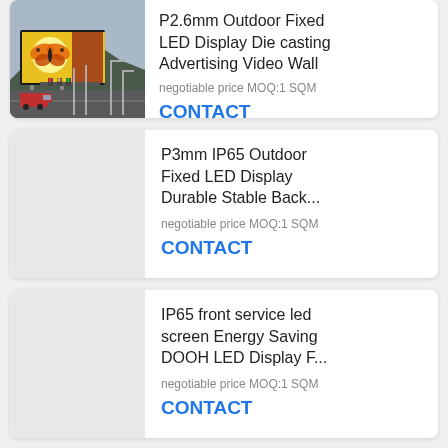[Figure (photo): Outdoor LED display billboard mounted on poles showing a butterfly image, with street scene and traffic lights in foreground]
P2.6mm Outdoor Fixed LED Display Die casting Advertising Video Wall
negotiable price MOQ:1 SQM
CONTACT
P3mm IP65 Outdoor Fixed LED Display Durable Stable Back...
negotiable price MOQ:1 SQM
CONTACT
IP65 front service led screen Energy Saving DOOH LED Display F...
negotiable price MOQ:1 SQM
CONTACT